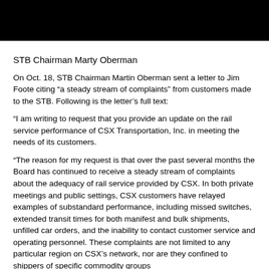[Figure (other): Black rectangular banner/header bar at top of page]
STB Chairman Marty Oberman
On Oct. 18, STB Chairman Martin Oberman sent a letter to Jim Foote citing “a steady stream of complaints” from customers made to the STB. Following is the letter’s full text:
“I am writing to request that you provide an update on the rail service performance of CSX Transportation, Inc. in meeting the needs of its customers.
“The reason for my request is that over the past several months the Board has continued to receive a steady stream of complaints about the adequacy of rail service provided by CSX. In both private meetings and public settings, CSX customers have relayed examples of substandard performance, including missed switches, extended transit times for both manifest and bulk shipments, unfilled car orders, and the inability to contact customer service and operating personnel. These complaints are not limited to any particular region on CSX’s network, nor are they confined to shippers of specific commodity groups